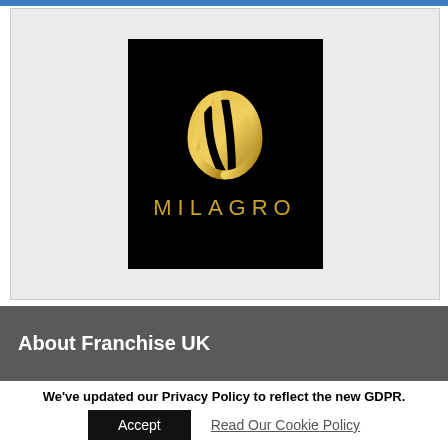[Figure (logo): Milagro logo: black background with a gold stylized droplet/shield icon and the word MILAGRO in gold capital letters below it]
About Franchise UK
We've updated our Privacy Policy to reflect the new GDPR.
Accept   Read Our Cookie Policy